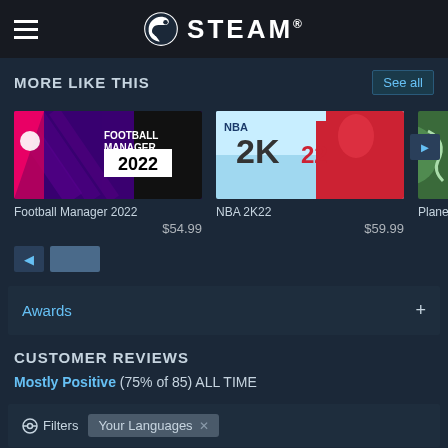STEAM
MORE LIKE THIS
See all
[Figure (screenshot): Football Manager 2022 game cover thumbnail showing pink and purple design with white text]
Football Manager 2022
$54.99
[Figure (screenshot): NBA 2K22 game cover thumbnail showing basketball player with blue and red design]
NBA 2K22
$59.99
[Figure (screenshot): Partial game cover thumbnail, partially visible at right edge]
Plane
Awards
CUSTOMER REVIEWS
Mostly Positive (75% of 85) ALL TIME
Filters  Your Languages ✕